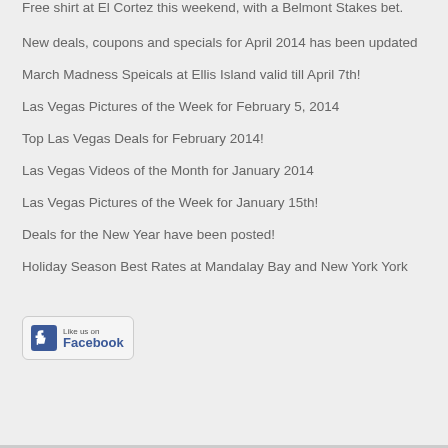Free shirt at El Cortez this weekend, with a Belmont Stakes bet.
New deals, coupons and specials for April 2014 has been updated
March Madness Speicals at Ellis Island valid till April 7th!
Las Vegas Pictures of the Week for February 5, 2014
Top Las Vegas Deals for February 2014!
Las Vegas Videos of the Month for January 2014
Las Vegas Pictures of the Week for January 15th!
Deals for the New Year have been posted!
Holiday Season Best Rates at Mandalay Bay and New York York
[Figure (logo): Like us on Facebook badge with thumbs up icon]